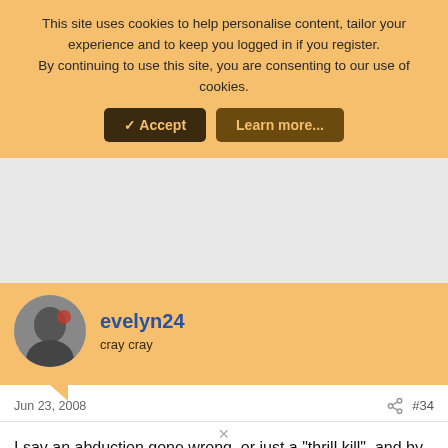This site uses cookies to help personalise content, tailor your experience and to keep you logged in if you register.
By continuing to use this site, you are consenting to our use of cookies.
[Figure (screenshot): Gray advertisement area placeholder]
evelyn24
cray cray
Jun 23, 2008  #34
I say an abduction gone wrong, or just a "thrill kill", and by that I